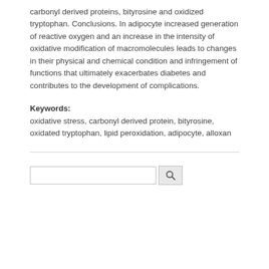carbonyl derived proteins, bityrosine and oxidized tryptophan. Conclusions. In adipocyte increased generation of reactive oxygen and an increase in the intensity of oxidative modification of macromolecules leads to changes in their physical and chemical condition and infringement of functions that ultimately exacerbates diabetes and contributes to the development of complications.
Keywords: oxidative stress, carbonyl derived protein, bityrosine, oxidated tryptophan, lipid peroxidation, adipocyte, alloxan